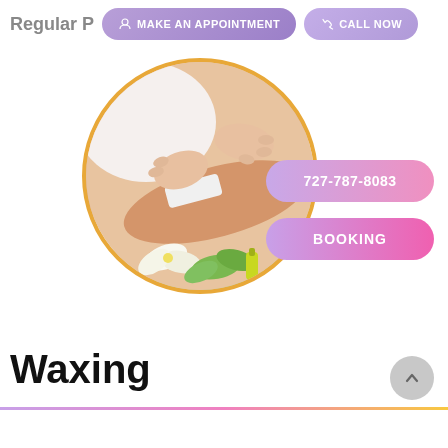Regular P
MAKE AN APPOINTMENT
CALL NOW
[Figure (photo): Circular photo of waxing treatment – hands applying wax strip to a person's arm, with white lily flowers and green herbs in the foreground, framed by an orange/gold circle border]
727-787-8083
BOOKING
Waxing